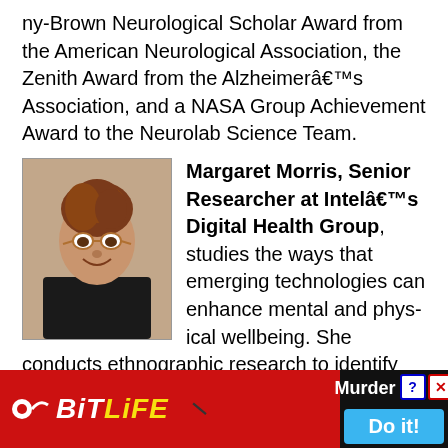ny-Brown Neurological Scholar Award from the American Neurological Association, the Zenith Award from the Alzheimerâ€™s Association, and a NASA Group Achievement Award to the Neurolab Science Team.
[Figure (photo): Portrait photo of Margaret Morris, a woman with reddish-brown curly hair worn up, wearing glasses and a black top, smiling.]
Margaret Morris, Senior Researcher at Intelâ€™s Digital Health Group, studies the ways that emerging technologies can enhance mental and physical wellbeing. She conducts ethnographic research to identify needs and works with engineers to develop and evaluate exploratory prototypes. Prior to joining Intel in 2002, she studied technology adoption in Sapientâ€™s Experience Modelling group. Margie completed her Ph.D. in Clinical Psychology with a minor in Behavioral Neuroscience, and inter... and
[Figure (screenshot): Advertisement overlay for BitLife mobile game showing red background with BitLife logo, a knife graphic, 'Murder' text, 'Do it!' blue button, Close X button, and help/close icons.]